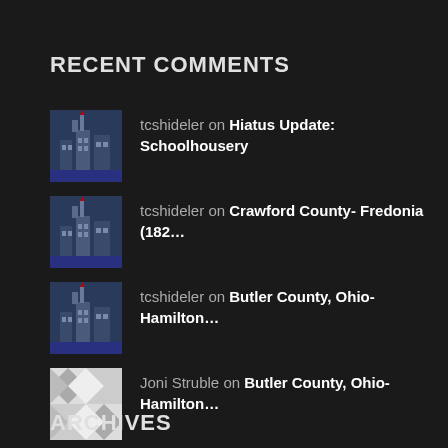RECENT COMMENTS
tcshideler on Hiatus Update: Schoolhousery
tcshideler on Crawford County- Fredonia (182…
tcshideler on Butler County, Ohio- Hamilton…
Joni Struble on Butler County, Ohio- Hamilton…
Janice McClure on Crawford County- Fredonia (182…
ARCHIVES